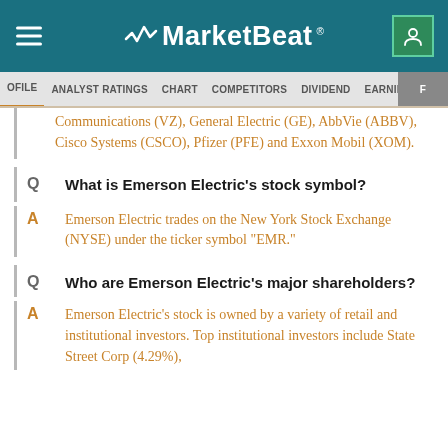MarketBeat
PROFILE  ANALYST RATINGS  CHART  COMPETITORS  DIVIDEND  EARNINGS
Communications (VZ), General Electric (GE), AbbVie (ABBV), Cisco Systems (CSCO), Pfizer (PFE) and Exxon Mobil (XOM).
Q  What is Emerson Electric's stock symbol?
A  Emerson Electric trades on the New York Stock Exchange (NYSE) under the ticker symbol "EMR."
Q  Who are Emerson Electric's major shareholders?
A  Emerson Electric's stock is owned by a variety of retail and institutional investors. Top institutional investors include State Street Corp (4.29%),